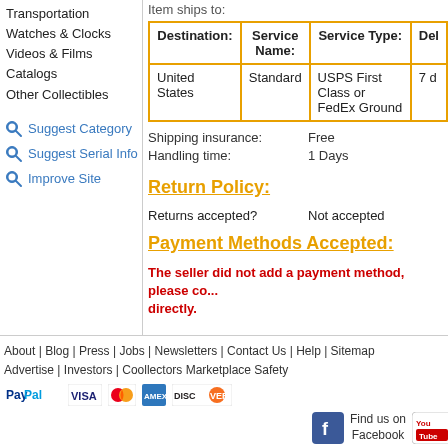Transportation
Watches & Clocks
Videos & Films
Catalogs
Other Collectibles
Suggest Category
Suggest Serial Info
Improve Site
| Destination: | Service Name: | Service Type: | De... |
| --- | --- | --- | --- |
| United States | Standard | USPS First Class or FedEx Ground | 7 d... |
Shipping insurance: Free
Handling time: 1 Days
Return Policy:
Returns accepted? Not accepted
Payment Methods Accepted:
The seller did not add a payment method, please co... directly.
About | Blog | Press | Jobs | Newsletters | Contact Us | Help | Sitemap
Advertise | Investors | Coollectors Marketplace Safety
[Figure (logo): PayPal, VISA, MasterCard, AmEx, DISCOVER payment icons]
[Figure (logo): Facebook and YouTube social media icons with 'Find us on Facebook' text]